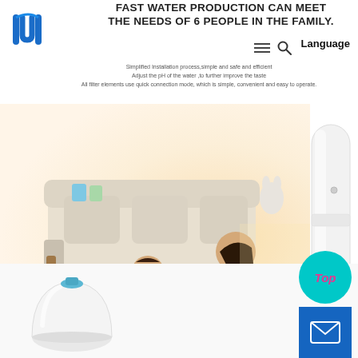[Figure (logo): Blue geometric logo mark with vertical bar shapes forming an M/W pattern]
FAST WATER PRODUCTION CAN MEET THE NEEDS OF 6 PEOPLE IN THE FAMILY.
Simplified Installation process,simple and safe and efficient
Adjust the pH of the water ,to further improve the taste
All filter elements use quick connection mode, which is simple, convenient and easy to operate.
Language
[Figure (photo): A mother and baby playing on a carpeted floor in a bright living room. The baby in white is crawling toward the smiling mother in a blue top. Soft white couch and toys visible in background. Water purifier device visible on right side of image.]
[Figure (photo): White tall cylindrical water purifier product standing upright on the right side]
[Figure (photo): White dome-shaped water filter product at bottom left]
Top
[Figure (illustration): Email/mail envelope icon in white on blue square background]